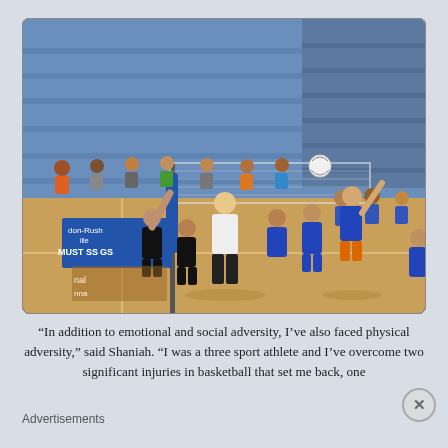[Figure (photo): Indoor volleyball game in a gymnasium with blue bleachers. Players in blue and orange uniforms are at the net, one player spiking the ball. A referee in white shirt and black pants stands at the net. Spectators fill the bleachers in the background. A banner reading 'don-Rushville Mustangs' is visible on the wall.]
“In addition to emotional and social adversity, I’ve also faced physical adversity,” said Shaniah. “I was a three sport athlete and I’ve overcome two significant injuries in basketball that set me back, one
Advertisements